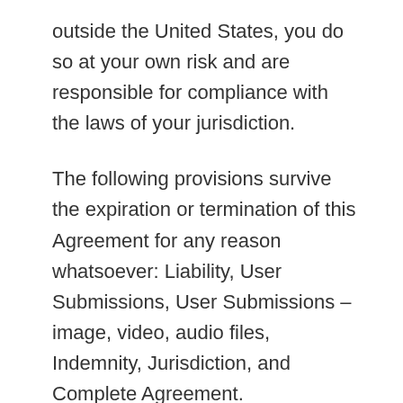outside the United States, you do so at your own risk and are responsible for compliance with the laws of your jurisdiction.
The following provisions survive the expiration or termination of this Agreement for any reason whatsoever: Liability, User Submissions, User Submissions – image, video, audio files, Indemnity, Jurisdiction, and Complete Agreement.
Jurisdiction
You expressly agree that exclusive jurisdiction for any dispute with MindFour, or in any way relating to your use of the MindFour Site, resides in the courts of the State of Florida and you further agree and